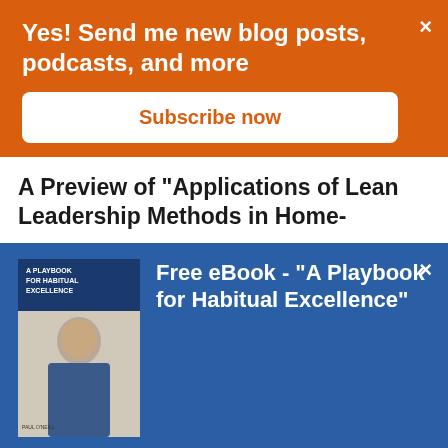Yes! Send me new blog posts, podcasts, and more
Subscribe now
A Preview of "Applications of Lean Leadership Methods in Home-
Free eBook - "A Playbook for Habitual Excellence"
The collected wisdom of Paul O'Neill
Download & Read Today